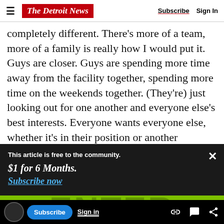The Detroit News | Subscribe | Sign In
completely different. There's more of a team, more of a family is really how I would put it. Guys are closer. Guys are spending more time away from the facility together, spending more time on the weekends together. (They're) just looking out for one another and everyone else's best interests. Everyone wants everyone else, whether it's in their position or another position, to do well because they know it's for the greater good of the
This article is free to the community.
$1 for 6 Months.
Subscribe now